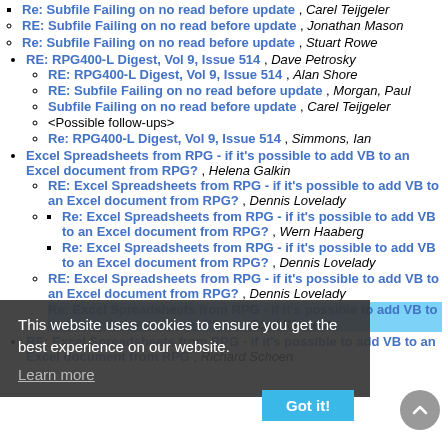Re: Subfile Failing on no read before update , Carel Teijgeler
RE: Subfile Failing on no read before update , Jonathan Mason
Re: Subfile Failing on no read before update , Stuart Rowe
RE: RPG400-L Digest, Vol 9, Issue 514 , Dave Petrosky
RE: RPG400-L Digest, Vol 9, Issue 514 , Alan Shore
RE: Subfile Failing on no read before update , Morgan, Paul
Subfile Failing on no read before update , Carel Teijgeler
<Possible follow-ups>
Re: RPG400-L Digest, Vol 9, Issue 514 , Simmons, Ian
Excel Spreadsheets from RPG - if it's possible to add VB to an Excel document from RPG? , Helena Galkin
RE: Excel Spreadsheets from RPG - if it's possible to add VB to an Excel document from RPG? , Dennis Lovelady
Re: Excel Spreadsheets from RPG - if it's possible to add VB to an Excel document from RPG? , Wern Haaberg
Re: Excel Spreadsheets from RPG - if it's possible to add VB to an Excel document from RPG? , Dennis Lovelady
RE: Excel Spreadsheets from RPG - if it's possible to add VB to an Excel document from RPG? , Dennis Lovelady
Re: Excel Spreadsheets from RPG - if it's possible to add VB to an Excel document from RPG? , Scott Klement
RE: Excel Spreadsheets from RPG - if it's possible to add VB to an Excel document from RPG , Richard Schoen